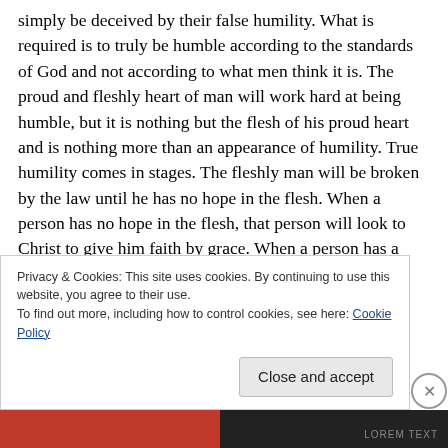simply be deceived by their false humility. What is required is to truly be humble according to the standards of God and not according to what men think it is. The proud and fleshly heart of man will work hard at being humble, but it is nothing but the flesh of his proud heart and is nothing more than an appearance of humility. True humility comes in stages. The fleshly man will be broken by the law until he has no hope in the flesh. When a person has no hope in the flesh, that person will look to Christ to give him faith by grace. When a person has a new heart and has Christ
Privacy & Cookies: This site uses cookies. By continuing to use this website, you agree to their use.
To find out more, including how to control cookies, see here: Cookie Policy
Close and accept